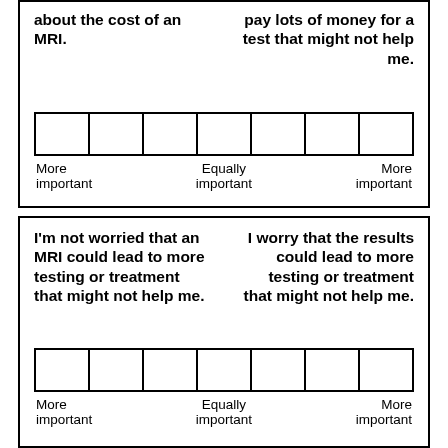about the cost of an MRI. | pay lots of money for a test that might not help me.
[Figure (other): Seven empty checkbox squares in a row forming a rating scale]
More important | Equally important | More important
I'm not worried that an MRI could lead to more testing or treatment that might not help me. | I worry that the results could lead to more testing or treatment that might not help me.
[Figure (other): Seven empty checkbox squares in a row forming a rating scale]
More important | Equally important | More important